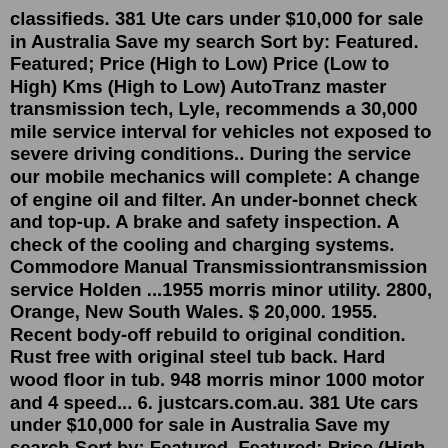classifieds. 381 Ute cars under $10,000 for sale in Australia Save my search Sort by: Featured. Featured; Price (High to Low) Price (Low to High) Kms (High to Low) AutoTranz master transmission tech, Lyle, recommends a 30,000 mile service interval for vehicles not exposed to severe driving conditions.. During the service our mobile mechanics will complete: A change of engine oil and filter. An under-bonnet check and top-up. A brake and safety inspection. A check of the cooling and charging systems. Commodore Manual Transmissiontransmission service Holden ...1955 morris minor utility. 2800, Orange, New South Wales. $ 20,000. 1955. Recent body-off rebuild to original condition. Rust free with original steel tub back. Hard wood floor in tub. 948 morris minor 1000 motor and 4 speed... 6. justcars.com.au. 381 Ute cars under $10,000 for sale in Australia Save my search Sort by: Featured. Featured; Price (High to Low) Price (Low to High) Kms (High to Low) Find cars or bakkies under 10000 Chevrolet Lumina Ute rated Hard C